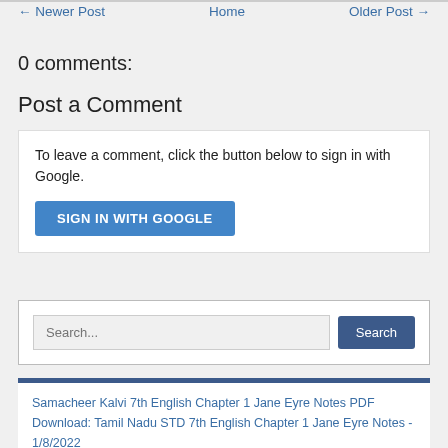← Newer Post   Home   Older Post →
0 comments:
Post a Comment
To leave a comment, click the button below to sign in with Google.
SIGN IN WITH GOOGLE
Search...
Samacheer Kalvi 7th English Chapter 1 Jane Eyre Notes PDF Download: Tamil Nadu STD 7th English Chapter 1 Jane Eyre Notes - 1/8/2022